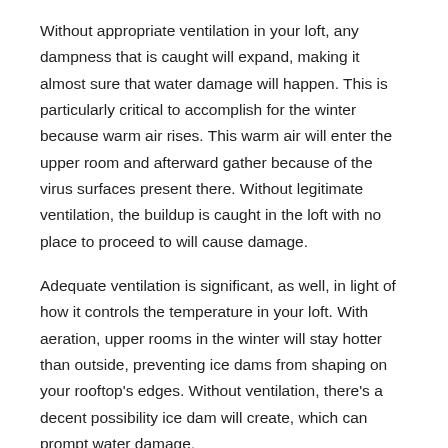Without appropriate ventilation in your loft, any dampness that is caught will expand, making it almost sure that water damage will happen. This is particularly critical to accomplish for the winter because warm air rises. This warm air will enter the upper room and afterward gather because of the virus surfaces present there. Without legitimate ventilation, the buildup is caught in the loft with no place to proceed to will cause damage.
Adequate ventilation is significant, as well, in light of how it controls the temperature in your loft. With aeration, upper rooms in the winter will stay hotter than outside, preventing ice dams from shaping on your rooftop's edges. Without ventilation, there's a decent possibility ice dam will create, which can prompt water damage.
Conclusion